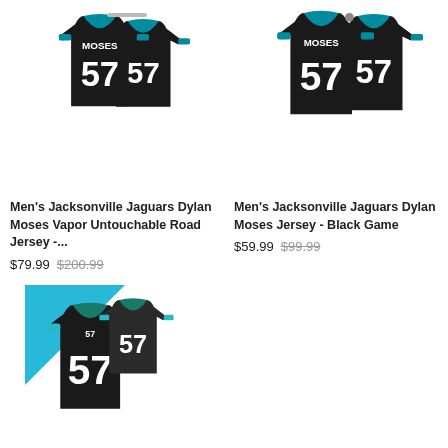[Figure (photo): Men's Jacksonville Jaguars #57 Dylan Moses black football jersey - Vapor Untouchable Road Jersey, shown front and back]
Men's Jacksonville Jaguars Dylan Moses Vapor Untouchable Road Jersey -...
$79.99 $200.99
[Figure (photo): Men's Jacksonville Jaguars #57 Dylan Moses black football jersey - Black Game Jersey, shown front and back]
Men's Jacksonville Jaguars Dylan Moses Jersey - Black Game
$59.99 $99.99
[Figure (photo): Youth Jacksonville Jaguars #57 Dylan Moses black football jersey, with YOUTH badge in teal corner]
YOUTH